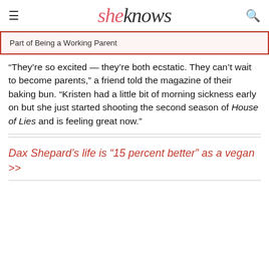sheknows
Part of Being a Working Parent
“They’re so excited — they’re both ecstatic. They can’t wait to become parents,” a friend told the magazine of their baking bun. “Kristen had a little bit of morning sickness early on but she just started shooting the second season of House of Lies and is feeling great now.”
Dax Shepard’s life is “15 percent better” as a vegan >>